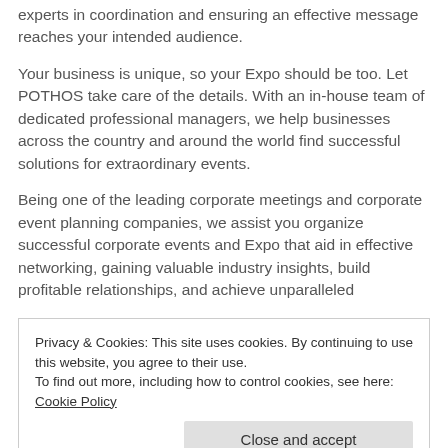experts in coordination and ensuring an effective message reaches your intended audience.
Your business is unique, so your Expo should be too. Let POTHOS take care of the details. With an in-house team of dedicated professional managers, we help businesses across the country and around the world find successful solutions for extraordinary events.
Being one of the leading corporate meetings and corporate event planning companies, we assist you organize successful corporate events and Expo that aid in effective networking, gaining valuable industry insights, build profitable relationships, and achieve unparalleled
Privacy & Cookies: This site uses cookies. By continuing to use this website, you agree to their use.
To find out more, including how to control cookies, see here:
Cookie Policy
simpler. As an experienced event planner in the U.S. we're